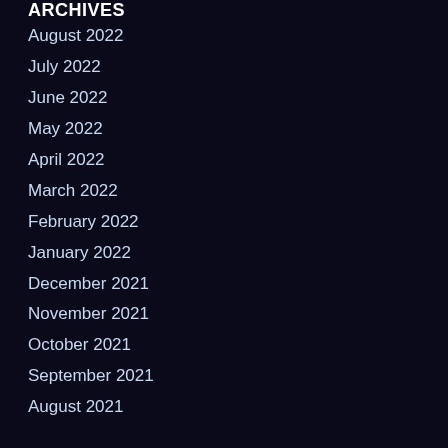ARCHIVES
August 2022
July 2022
June 2022
May 2022
April 2022
March 2022
February 2022
January 2022
December 2021
November 2021
October 2021
September 2021
August 2021